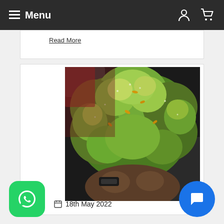Menu
Read More
[Figure (photo): Close-up photograph of a large pile of green cannabis buds being held up by a person's hand against a dark background with various items visible behind.]
18th May 2022